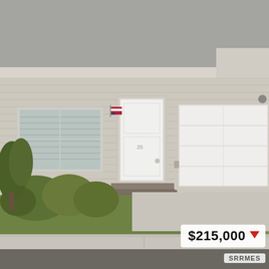[Figure (photo): Exterior photo of a single-story residential home with tan/beige vinyl siding, gray shingle roof, white front door with small porch steps, one-car garage with white door, large window on the left, green bushes and lawn in front, concrete driveway and sidewalk.]
$215,000 ▼
SRRMES